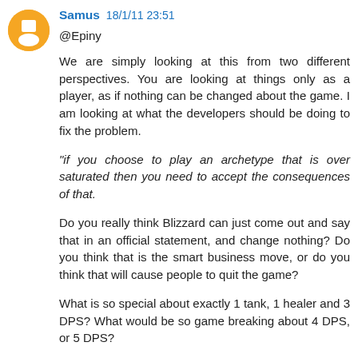Samus 18/1/11 23:51
@Epiny

We are simply looking at this from two different perspectives. You are looking at things only as a player, as if nothing can be changed about the game. I am looking at what the developers should be doing to fix the problem.

"if you choose to play an archetype that is over saturated then you need to accept the consequences of that.

Do you really think Blizzard can just come out and say that in an official statement, and change nothing? Do you think that is the smart business move, or do you think that will cause people to quit the game?

What is so special about exactly 1 tank, 1 healer and 3 DPS? What would be so game breaking about 4 DPS, or 5 DPS?

Maybe groups should just be trios, 1 tank, 1 healer and 1 DPS. Then you would REALLY force the DPS to reroll or...